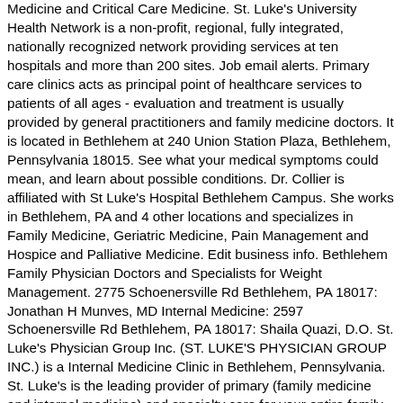Medicine and Critical Care Medicine. St. Luke's University Health Network is a non-profit, regional, fully integrated, nationally recognized network providing services at ten hospitals and more than 200 sites. Job email alerts. Primary care clinics acts as principal point of healthcare services to patients of all ages - evaluation and treatment is usually provided by general practitioners and family medicine doctors. It is located in Bethlehem at 240 Union Station Plaza, Bethlehem, Pennsylvania 18015. See what your medical symptoms could mean, and learn about possible conditions. Dr. Collier is affiliated with St Luke's Hospital Bethlehem Campus. She works in Bethlehem, PA and 4 other locations and specializes in Family Medicine, Geriatric Medicine, Pain Management and Hospice and Palliative Medicine. Edit business info. Bethlehem Family Physician Doctors and Specialists for Weight Management. 2775 Schoenersville Rd Bethlehem, PA 18017: Jonathan H Munves, MD Internal Medicine: 2597 Schoenersville Rd Bethlehem, PA 18017: Shaila Quazi, D.O. St. Luke's Physician Group Inc. (ST. LUKE'S PHYSICIAN GROUP INC.) is a Internal Medicine Clinic in Bethlehem, Pennsylvania. St. Luke's is the leading provider of primary (family medicine and internal medicine) and specialty care for your entire family in the greater Lehigh Valley and Warren County, New Jersey. Search by name or medical condition. 1 Office Location. Fight allergies with daily forecasts, local alerts, and personalized tips. St. Luke's Family Practice is a practice located in Bethlehem, PA. St. Luke's primary care providers play an important role in your family's